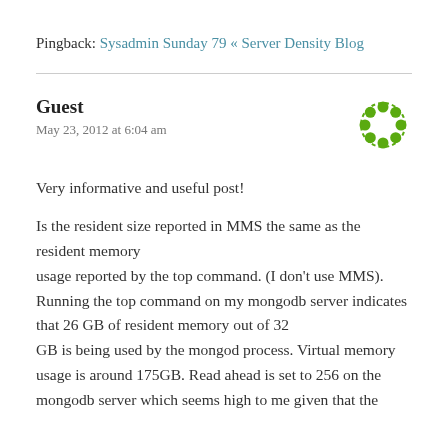Pingback: Sysadmin Sunday 79 « Server Density Blog
Guest
May 23, 2012 at 6:04 am
Very informative and useful post!
Is the resident size reported in MMS the same as the resident memory usage reported by the top command. (I don't use MMS). Running the top command on my mongodb server indicates that 26 GB of resident memory out of 32 GB is being used by the mongod process. Virtual memory usage is around 175GB. Read ahead is set to 256 on the mongodb server which seems high to me given that the